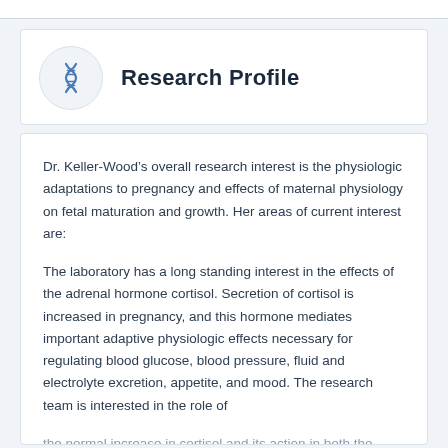Research Profile
Dr. Keller-Wood’s overall research interest is the physiologic adaptations to pregnancy and effects of maternal physiology on fetal maturation and growth. Her areas of current interest are:
The laboratory has a long standing interest in the effects of the adrenal hormone cortisol. Secretion of cortisol is increased in pregnancy, and this hormone mediates important adaptive physiologic effects necessary for regulating blood glucose, blood pressure, fluid and electrolyte excretion, appetite, and mood. The research team is interested in the role of the normal increase in cortisol and its action in both the...